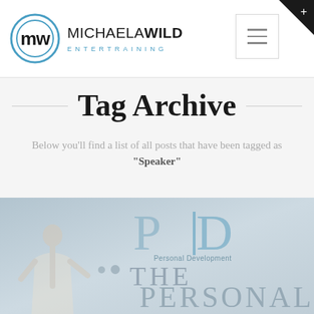[Figure (logo): Michaela Wild Entertraining logo with circular MW icon in blue and brand name]
Tag Archive
Below you'll find a list of all posts that have been tagged as "Speaker"
[Figure (illustration): Personal Development logo with PD letters in blue/gray, woman figure on left, large text THE PERSONAL on a muted blue-gray background]